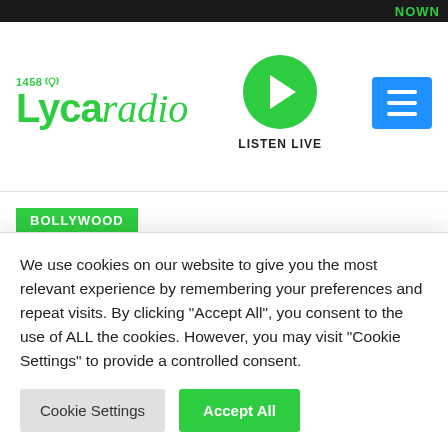NOW
[Figure (logo): Lyca Radio 1458 logo with green text and wifi/signal icon]
[Figure (other): Green circular play button for Listen Live]
[Figure (other): Blue hamburger menu button]
BOLLYWOOD
Rumours of Aishwarya Rai Bachchan's
We use cookies on our website to give you the most relevant experience by remembering your preferences and repeat visits. By clicking "Accept All", you consent to the use of ALL the cookies. However, you may visit "Cookie Settings" to provide a controlled consent.